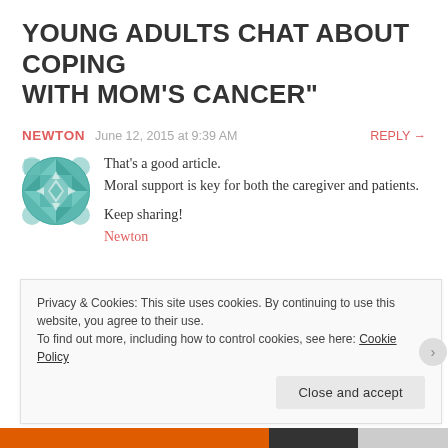YOUNG ADULTS CHAT ABOUT COPING WITH MOM'S CANCER"
NEWTON   June 12, 2015 at 9:39 AM   REPLY →
That's a good article. Moral support is key for both the caregiver and patients.

Keep sharing!
Newton
Privacy & Cookies: This site uses cookies. By continuing to use this website, you agree to their use.
To find out more, including how to control cookies, see here: Cookie Policy
Close and accept